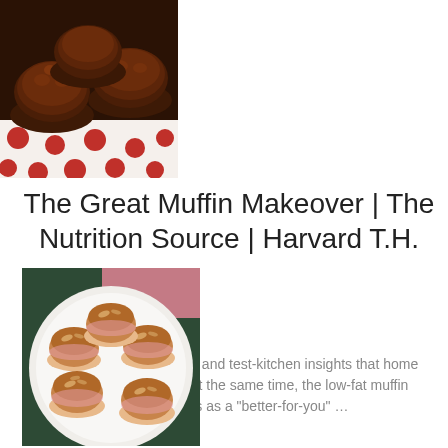[Figure (photo): Chocolate muffins on a red and white polka dot surface, close-up view from above]
The Great Muffin Makeover | The Nutrition Source | Harvard T.H.
Check out these recipes and test-kitchen insights that home bakers can use to … At the same time, the low-fat muffin masquerades as a "better-for-you" …
[Figure (photo): Five oat-topped muffins in pink paper liners arranged on a white plate, viewed from above]